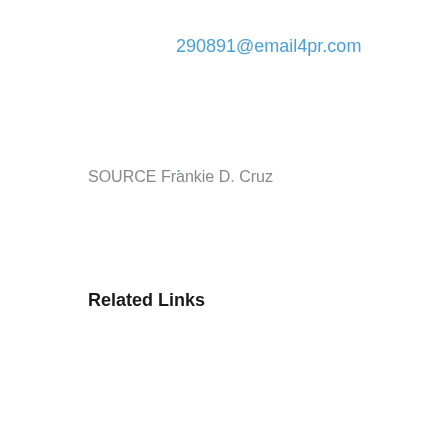290891@email4pr.com
.
SOURCE Frankie D. Cruz
Related Links
https://unfitbook.kartra.com